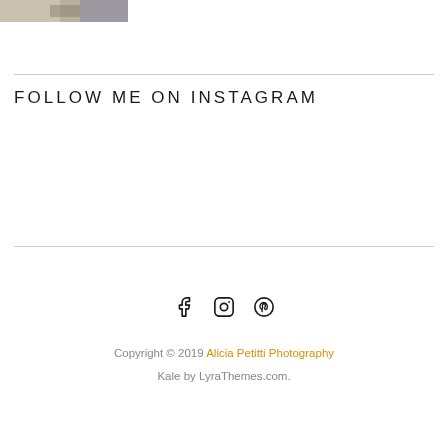[Figure (photo): Partial photo of a couple at a wedding, showing flowers and suit jacket, cropped at top of page]
FOLLOW ME ON INSTAGRAM
[Figure (infographic): Social media icons: Facebook, Instagram, Pinterest]
Copyright © 2019 Alicia Petitti Photography
Kale by LyraThemes.com.